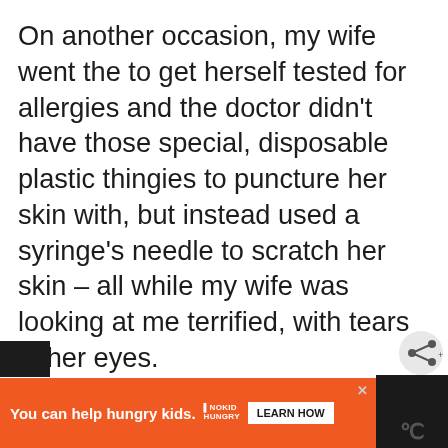On another occasion, my wife went the to get herself tested for allergies and the doctor didn't have those special, disposable plastic thingies to puncture her skin with, but instead used a syringe's needle to scratch her skin – all while my wife was looking at me terrified, with tears in her eyes.
In most hospitals, it's not unusual for fo[o]d to be stored in old water buckets (at le[as]t the tea and soups) and served with [ute]nsils [ob]... wo[oden]...
[Figure (other): Advertisement bar: orange background with text 'You can help hungry kids.' with No Kid Hungry logo and 'LEARN HOW' button. Dark right side with share and close icons.]